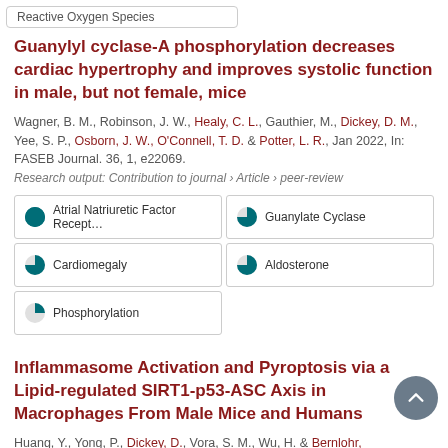Reactive Oxygen Species
Guanylyl cyclase-A phosphorylation decreases cardiac hypertrophy and improves systolic function in male, but not female, mice
Wagner, B. M., Robinson, J. W., Healy, C. L., Gauthier, M., Dickey, D. M., Yee, S. P., Osborn, J. W., O'Connell, T. D. & Potter, L. R., Jan 2022, In: FASEB Journal. 36, 1, e22069.
Research output: Contribution to journal › Article › peer-review
Atrial Natriuretic Factor Receptor
Guanylate Cyclase
Cardiomegaly
Aldosterone
Phosphorylation
Inflammasome Activation and Pyroptosis via a Lipid-regulated SIRT1-p53-ASC Axis in Macrophages From Male Mice and Humans
Huang, Y., Yong, P., Dickey, D., Vora, S. M., Wu, H. & Bernlohr,